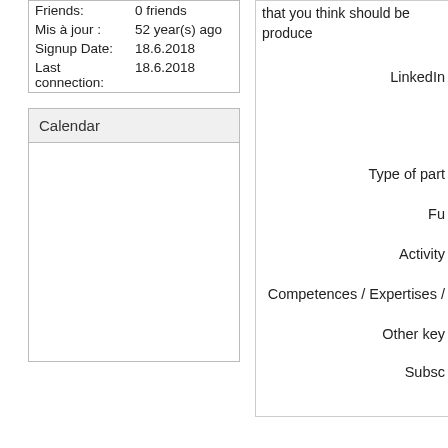| Friends: | 0 friends |
| Mis à jour : | 52 year(s) ago |
| Signup Date: | 18.6.2018 |
| Last connection: | 18.6.2018 |
Calendar
that you think should be produce
LinkedIn
Type of part
Fu
Activity
Competences / Expertises /
Other key
Subsc